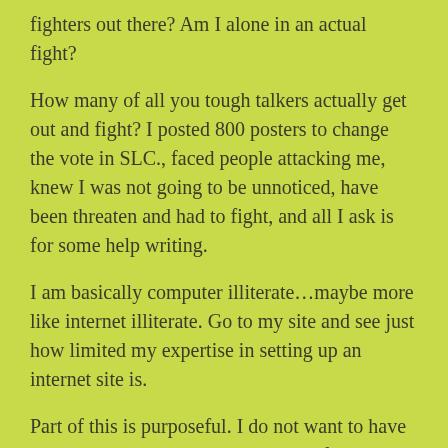fighters out there? Am I alone in an actual fight?
How many of all you tough talkers actually get out and fight? I posted 800 posters to change the vote in SLC., faced people attacking me, knew I was not going to be unnoticed, have been threaten and had to fight, and all I ask is for some help writing.
I am basically computer illiterate…maybe more like internet illiterate. Go to my site and see just how limited my expertise in setting up an internet site is.
Part of this is purposeful. I do not want to have anything to do with google, Microsoft and other enemy means of regulation, registration and control.
Regarding the headline, please take note I worded this